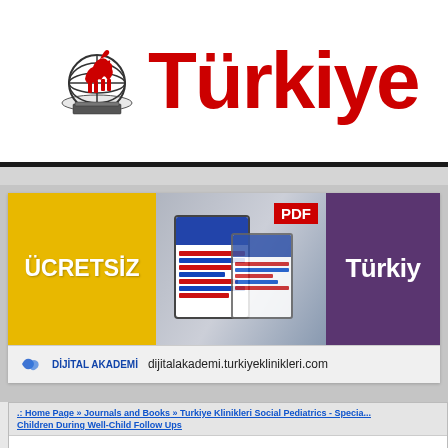[Figure (logo): Turkiye Klinikleri logo with globe and horse figure, next to large red 'Türkiye' text header]
[Figure (infographic): Advertisement banner for Dijital Akademi / turkiyeklinikleri.com showing 'ÜCRETSİZ PDF Türkiy' with yellow, tablet/phone image, and purple sections, and URL dijitalakademi.turkiyeklinikleri.com at bottom]
.: Home Page » Journals and Books » Turkiye Klinikleri Social Pediatrics - Specia... Children During Well-Child Follow Ups
Protecting the Health and Supporting the Developme...
[Figure (logo): Türkiye Klinikleri book cover logo]
Üç-Altı Yaş Çocuk Sağlığına Bütün... Ailelerin Sık Sorduğu Sorular